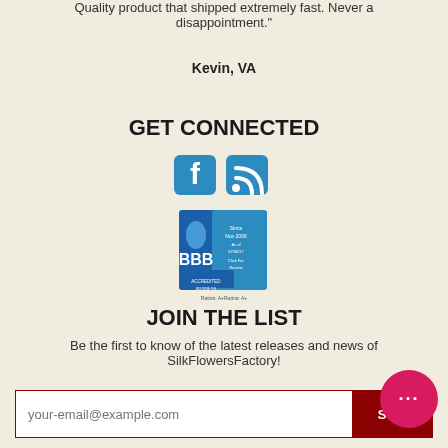Quality product that shipped extremely fast. Never a disappointment."
Kevin, VA
GET CONNECTED
[Figure (illustration): Facebook and RSS social media icons in blue rounded squares]
[Figure (logo): BBB Accredited Business badge with Rating A+ and since Nov 2006]
JOIN THE LIST
Be the first to know of the latest releases and news of SilkFlowersFactory!
[Figure (screenshot): Email signup form with input field (your-email@example.com) and SUBMIT button in dark red]